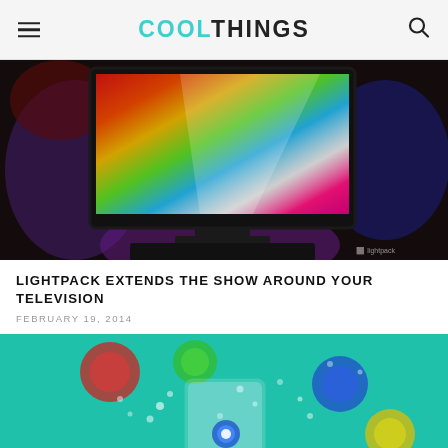COOLTHINGS
[Figure (photo): Dark room with a flat-screen TV displaying a vivid rainbow gradient (red, orange, yellow, green, blue), with ambient colored lighting glowing behind the TV against a brick wall. Purple and blue light emanates from behind the screen.]
LIGHTPACK EXTENDS THE SHOW AROUND YOUR TELEVISION
FEBRUARY 19, 2014
[Figure (photo): Close-up of a small transparent/glass device on a teal/green background with colorful bokeh light circles (red, green, blue, yellow) surrounding it. A barcode is visible at the bottom of the device.]